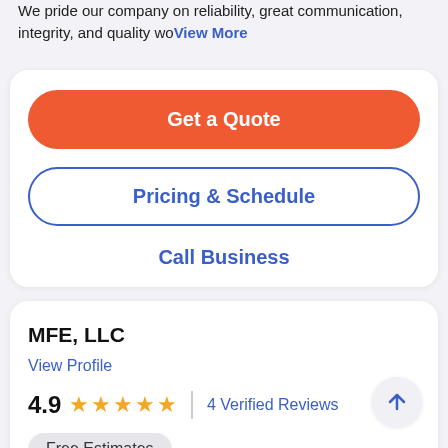We pride our company on reliability, great communication, integrity, and quality wo… View More
Get a Quote
Pricing & Schedule
Call Business
MFE, LLC
View Profile
4.9  ★★★★★  | 4 Verified Reviews
Free Estimates